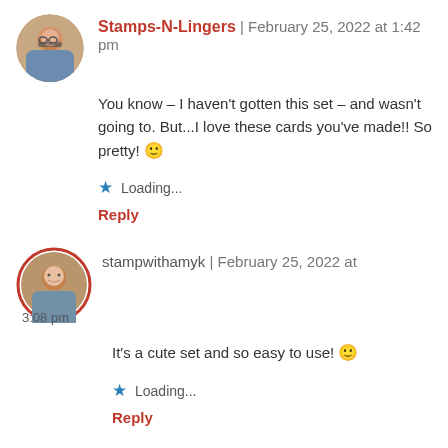Stamps-N-Lingers | February 25, 2022 at 1:42 pm
You know – I haven't gotten this set – and wasn't going to. But...I love these cards you've made!! So pretty! 🙂
Loading...
Reply
stampwithamyk | February 25, 2022 at 3:08 pm
It's a cute set and so easy to use! 🙂
Loading...
Reply